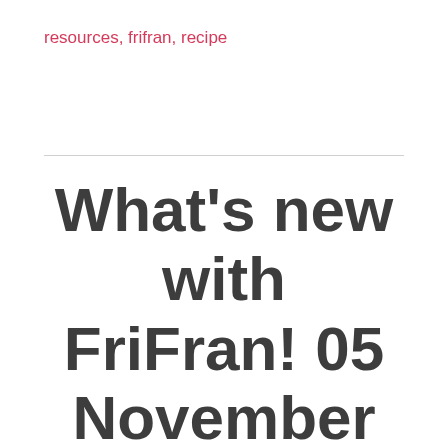resources, frifran, recipe
What's new with FriFran! 05 November 2017 (it's Bonfire Night!)